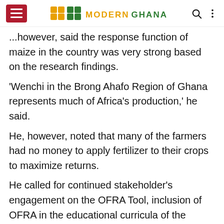Modern Ghana
...however, said the response function of maize in the country was very strong based on the research findings.
'Wenchi in the Brong Ahafo Region of Ghana represents much of Africa's production,' he said.
He, however, noted that many of the farmers had no money to apply fertilizer to their crops to maximize returns.
He called for continued stakeholder's engagement on the OFRA Tool, inclusion of OFRA in the educational curricula of the country, policies promoting OFRA and fertilizer choices and the creation of farmers demand for more profitable optimizer approaches.